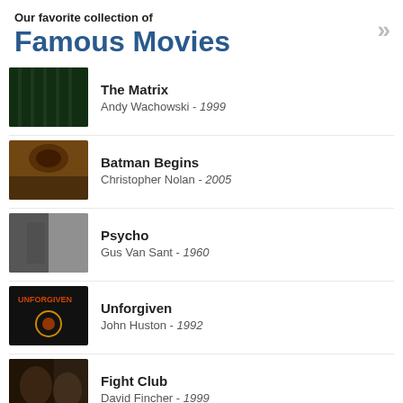Our favorite collection of Famous Movies
The Matrix — Andy Wachowski - 1999
Batman Begins — Christopher Nolan - 2005
Psycho — Gus Van Sant - 1960
Unforgiven — John Huston - 1992
Fight Club — David Fincher - 1999
Shawshank Redemption — Frank Darabont - 1994
American Beauty — Sam Mendes - 1999